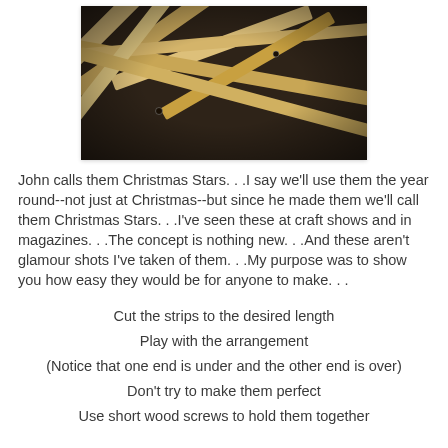[Figure (photo): Photograph of wooden strips arranged in a star/lattice pattern, crossing over and under each other, on a dark background. The strips are light natural wood color.]
John calls them Christmas Stars. . .I say we'll use them the year round--not just at Christmas--but since he made them we'll call them Christmas Stars. . .I've seen these at craft shows and in magazines. . .The concept is nothing new. . .And these aren't glamour shots I've taken of them. . .My purpose was to show you how easy they would be for anyone to make. . .
Cut the strips to the desired length
Play with the arrangement
(Notice that one end is under and the other end is over)
Don't try to make them perfect
Use short wood screws to hold them together